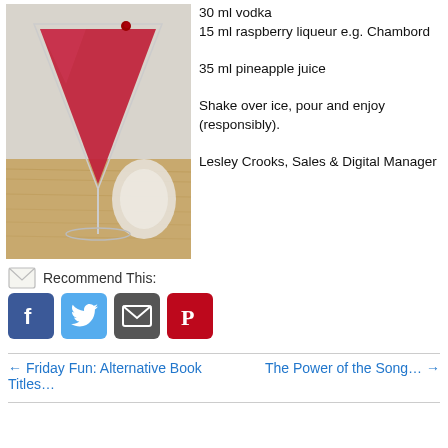[Figure (photo): A red cocktail in a martini glass on a wooden surface, with a lemon slice or garnish visible at the rim.]
30 ml vodka
15 ml raspberry liqueur e.g. Chambord
35 ml pineapple juice
Shake over ice, pour and enjoy (responsibly).

Lesley Crooks, Sales & Digital Manager
Recommend This:
[Figure (infographic): Social sharing icons: Facebook (blue), Twitter (light blue), Email (grey), Pinterest (red)]
← Friday Fun: Alternative Book Titles…
The Power of the Song… →